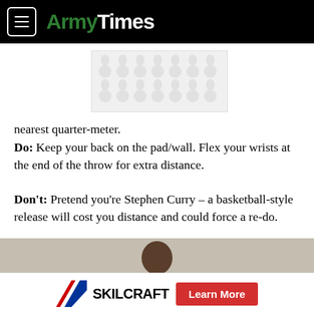ArmyTimes
[Figure (other): Advertisement placeholder banner with decorative pattern (teardrop/paw shapes on grey background)]
nearest quarter-meter.
Do: Keep your back on the pad/wall. Flex your wrists at the end of the throw for extra distance.
Don't: Pretend you're Stephen Curry – a basketball-style release will cost you distance and could force a re-do.
[Figure (photo): Photo of a person in a black Army shirt, upper body visible, bent slightly forward against a beige/grey wall background]
[Figure (logo): SKILCRAFT logo with diagonal stripes and a red Learn More button advertisement]